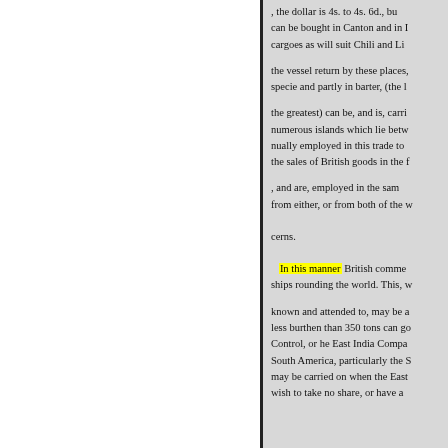, the dollar is 4s. to 4s. 6d., but can be bought in Canton and in I... cargoes as will suit Chili and Li... the vessel return by these places, specie and partly in barter, (the l... the greatest) can be, and is, carri... numerous islands which lie betw... nually employed in this trade to ... the sales of British goods in the ... , and are, employed in the sam... from either, or from both of the w... cerns. In this manner British comme... ships rounding the world. This, w... known and attended to, may be a... less burthen than 350 tons can go... Control, or he East India Compa... South America, particularly the S... may be carried on when the East... wish to take no share, or have a...